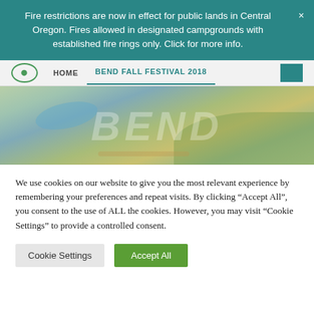Fire restrictions are now in effect for public lands in Central Oregon. Fires allowed in designated campgrounds with established fire rings only. Click for more info.
HOME   BEND FALL FESTIVAL 2018
[Figure (photo): Aerial/overhead photo of Bend, Oregon with a large watermark text overlay reading 'BEND' in the hero image area.]
We use cookies on our website to give you the most relevant experience by remembering your preferences and repeat visits. By clicking "Accept All", you consent to the use of ALL the cookies. However, you may visit "Cookie Settings" to provide a controlled consent.
Cookie Settings
Accept All